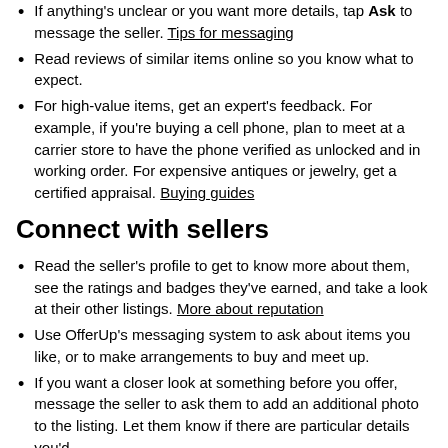If anything's unclear or you want more details, tap ASK to message the seller. Tips for messaging
Read reviews of similar items online so you know what to expect.
For high-value items, get an expert's feedback. For example, if you're buying a cell phone, plan to meet at a carrier store to have the phone verified as unlocked and in working order. For expensive antiques or jewelry, get a certified appraisal. Buying guides
Connect with sellers
Read the seller's profile to get to know more about them, see the ratings and badges they've earned, and take a look at their other listings. More about reputation
Use OfferUp's messaging system to ask about items you like, or to make arrangements to buy and meet up.
If you want a closer look at something before you offer, message the seller to ask them to add an additional photo to the listing. Let them know if there are particular details you'd